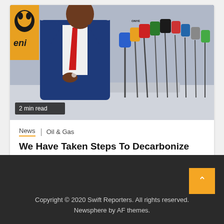[Figure (photo): Man in blue suit with red tie at press conference, with multiple microphones and ENI logo visible in background. Badge shows '2 min read'.]
News  Oil & Gas
We Have Taken Steps To Decarbonize Our Operations – Kyari
10 hours ago  Swift Reporters
Copyright © 2020 Swift Reporters. All rights reserved. Newsphere by AF themes.